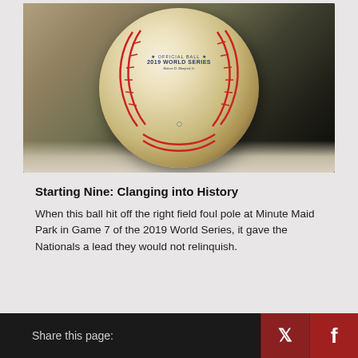[Figure (photo): A used baseball with red stitching, stamped with '2019 WORLD SERIES' text, photographed against a dark background on a light surface.]
Starting Nine: Clanging into History
When this ball hit off the right field foul pole at Minute Maid Park in Game 7 of the 2019 World Series, it gave the Nationals a lead they would not relinquish.
Share this page: